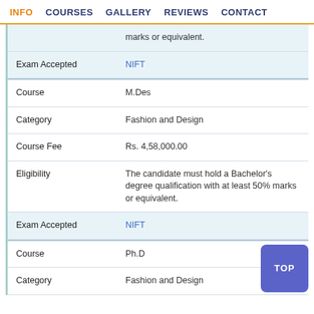INFO  COURSES  GALLERY  REVIEWS  CONTACT
| Field | Value |
| --- | --- |
|  | marks or equivalent. |
| Exam Accepted | NIFT |
| Course | M.Des |
| Category | Fashion and Design |
| Course Fee | Rs. 4,58,000.00 |
| Eligibility | The candidate must hold a Bachelor's degree qualification with at least 50% marks or equivalent. |
| Exam Accepted | NIFT |
| Course | Ph.D |
| Category | Fashion and Design |